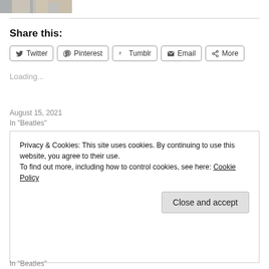[Figure (photo): Partial photo of people, cropped at top of page]
Share this:
Twitter  Pinterest  Tumblr  Email  More
Loading...
At Last – A Blue Box for The Beatles Singles Collection
August 15, 2021
In "Beatles"
Privacy & Cookies: This site uses cookies. By continuing to use this website, you agree to their use.
To find out more, including how to control cookies, see here: Cookie Policy
Close and accept
In "Beatles"